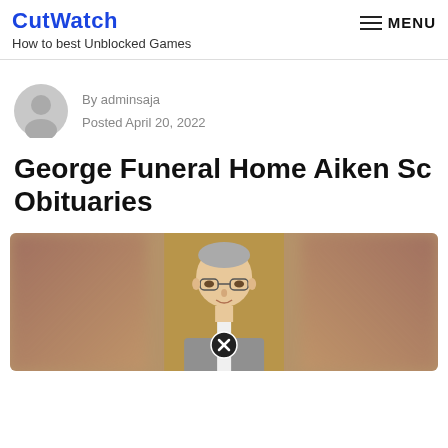CutWatch
How to best Unblocked Games
By adminsaja
Posted April 20, 2022
George Funeral Home Aiken Sc Obituaries
[Figure (photo): Portrait photo of an elderly man wearing glasses and a suit jacket, with a golden-brown blurred background. A close button (X in circle) is visible at the bottom center.]